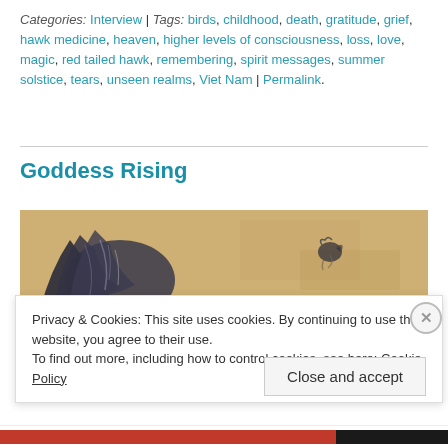Categories: Interview | Tags: birds, childhood, death, gratitude, grief, hawk medicine, heaven, higher levels of consciousness, loss, love, magic, red tailed hawk, remembering, spirit messages, summer solstice, tears, unseen realms, Viet Nam | Permalink.
Goddess Rising
[Figure (illustration): A partial illustration showing what appears to be a bird or goddess figure with dark flowing feathers/wings against a warm sandy/tan background, artistic sketch style.]
Privacy & Cookies: This site uses cookies. By continuing to use this website, you agree to their use. To find out more, including how to control cookies, see here: Cookie Policy
Close and accept